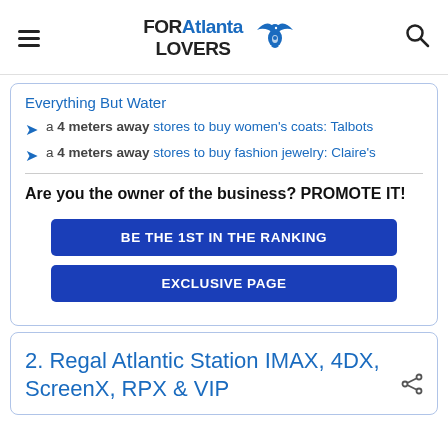FORAtlanta LOVERS
Everything But Water
a 4 meters away stores to buy women's coats: Talbots
a 4 meters away stores to buy fashion jewelry: Claire's
Are you the owner of the business? PROMOTE IT!
BE THE 1ST IN THE RANKING
EXCLUSIVE PAGE
2. Regal Atlantic Station IMAX, 4DX, ScreenX, RPX & VIP